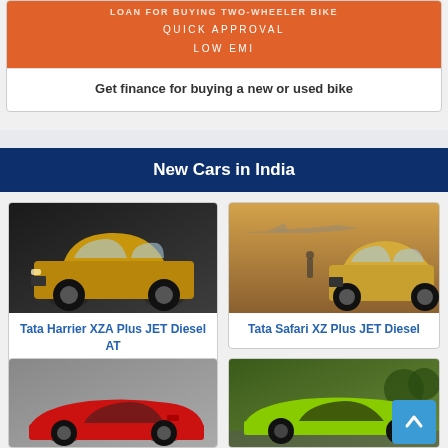[Figure (infographic): Orange promotional banner with text about quick approval and low EMI for two-wheeler loan]
Get finance for buying a new or used bike
New Cars in India
[Figure (photo): Tata Harrier XZA Plus JET Diesel AT - golden/brown SUV on dark background]
Tata Harrier XZA Plus JET Diesel AT
[Figure (photo): Tata Safari XZ Plus JET Diesel - golden SUV with aircraft in background]
Tata Safari XZ Plus JET Diesel
[Figure (photo): Ferrari red sports car on gray background - partial view]
[Figure (photo): Green Lamborghini sports car - partial view]